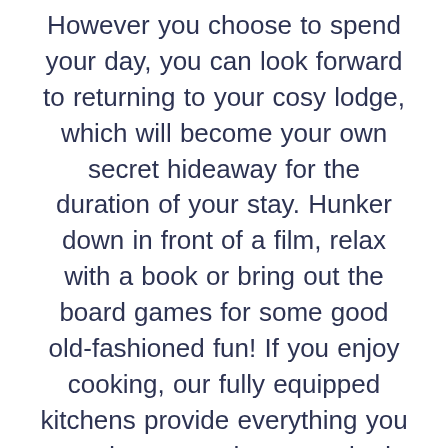However you choose to spend your day, you can look forward to returning to your cosy lodge, which will become your own secret hideaway for the duration of your stay. Hunker down in front of a film, relax with a book or bring out the board games for some good old-fashioned fun! If you enjoy cooking, our fully equipped kitchens provide everything you need to create home-cooked meals, but if you're planning a complete break from chef's duties you can order in from